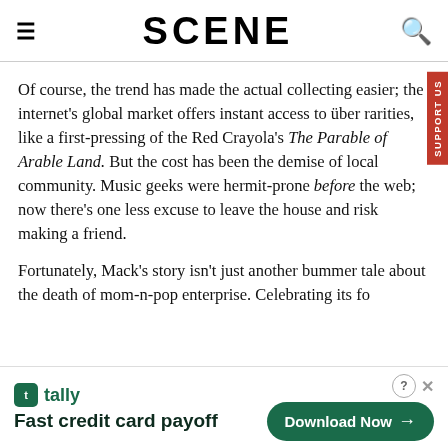SCENE
Of course, the trend has made the actual collecting easier; the internet's global market offers instant access to über rarities, like a first-pressing of the Red Crayola's The Parable of Arable Land. But the cost has been the demise of local community. Music geeks were hermit-prone before the web; now there's one less excuse to leave the house and risk making a friend.
Fortunately, Mack's story isn't just another bummer tale about the death of mom-n-pop enterprise. Celebrating its fourth anniversary, the hall is debating its own...
[Figure (other): Tally app advertisement banner: Fast credit card payoff, Download Now button]